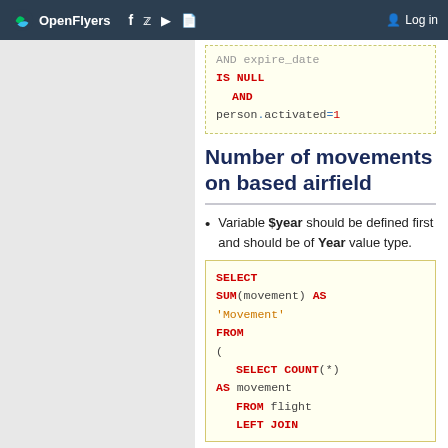OpenFlyers | Log in
[Figure (screenshot): Code snippet showing SQL with IS NULL AND person.activated=1]
Number of movements on based airfield
Variable $year should be defined first and should be of Year value type.
[Figure (screenshot): SQL code block: SELECT SUM(movement) AS 'Movement' FROM ( SELECT COUNT(*) AS movement FROM flight LEFT JOIN]